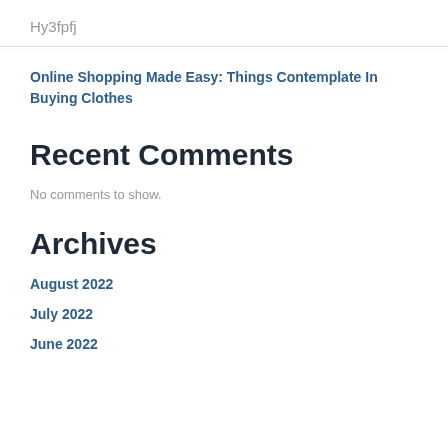Hy3fpfj
Online Shopping Made Easy: Things Contemplate In Buying Clothes
Recent Comments
No comments to show.
Archives
August 2022
July 2022
June 2022